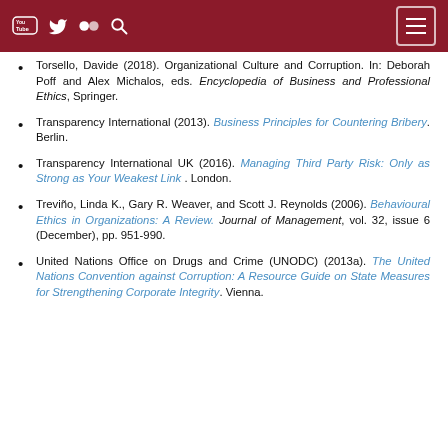[navigation bar with YouTube, Twitter, Flickr, Search icons and menu button]
Torsello, Davide (2018). Organizational Culture and Corruption. In: Deborah Poff and Alex Michalos, eds. Encyclopedia of Business and Professional Ethics, Springer.
Transparency International (2013). Business Principles for Countering Bribery. Berlin.
Transparency International UK (2016). Managing Third Party Risk: Only as Strong as Your Weakest Link . London.
Treviño, Linda K., Gary R. Weaver, and Scott J. Reynolds (2006). Behavioural Ethics in Organizations: A Review. Journal of Management, vol. 32, issue 6 (December), pp. 951-990.
United Nations Office on Drugs and Crime (UNODC) (2013a). The United Nations Convention against Corruption: A Resource Guide on State Measures for Strengthening Corporate Integrity. Vienna.